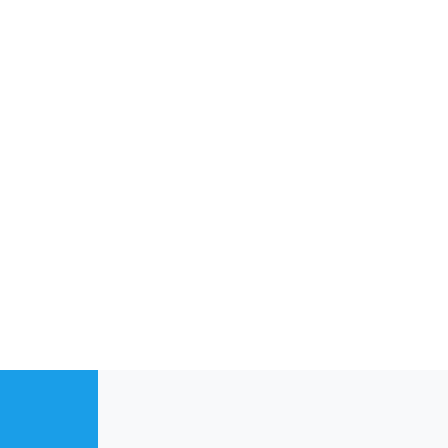kingricefan, Dana Jean, do1you9love? and 1 other person
[Figure (photo): Circular avatar of user GNTLGNT showing a black and white photo of a man wearing a bowler hat and glasses]
GNTLGNT
The idiot is IN
This site uses cookies to help personalise content, tailor your experience and to keep you logged in if you register. By continuing to use this site, you are consenting to our use of cookies.
Accept
Learn more…